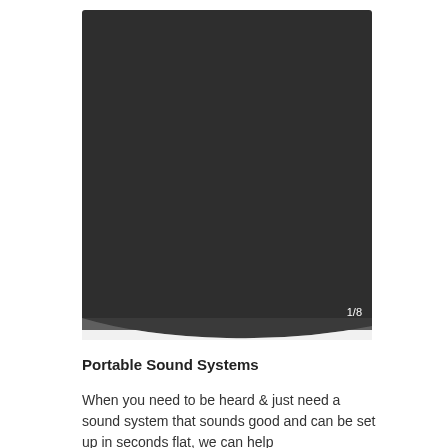[Figure (photo): Dark/black product image panel showing page 1 of 8, with a page curl shadow at the bottom]
Portable Sound Systems
When you need to be heard & just need a sound system that sounds good and can be set up in seconds flat, we can help